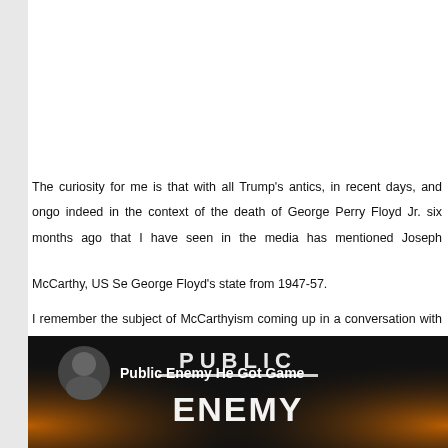The curiosity for me is that with all Trump's antics, in recent days, and ongoing indeed in the context of the death of George Perry Floyd Jr. six months ago, nothing that I have seen in the media has mentioned Joseph McCarthy, US Senator from George Floyd's state from 1947-57.
I remember the subject of McCarthyism coming up in a conversation with an American when I was in China and him saying: 'Yeah, that was our Cultural Revolution.' Well, America may just have avoided another Cultural Revolution. And here's something uplifting from the estimable Chuck D.
[Figure (screenshot): Video thumbnail for 'Public Enemy He Got Game' showing dark background with Public Enemy text and logo, a circular avatar of a person on the left, and the video title in white text]